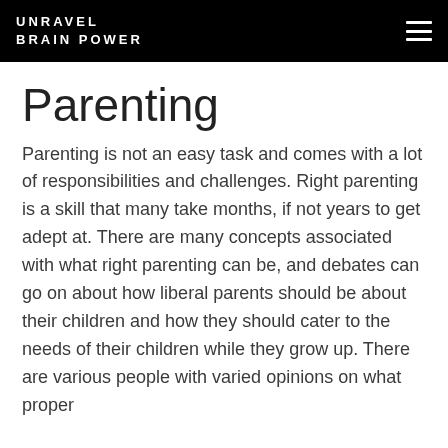UNRAVEL BRAIN POWER
Parenting
Parenting is not an easy task and comes with a lot of responsibilities and challenges. Right parenting is a skill that many take months, if not years to get adept at. There are many concepts associated with what right parenting can be, and debates can go on about how liberal parents should be about their children and how they should cater to the needs of their children while they grow up. There are various people with varied opinions on what proper